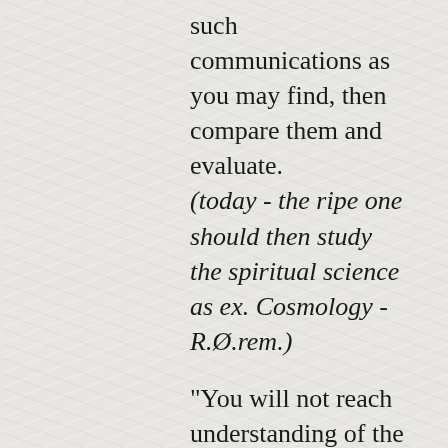such communications as you may find, then compare them and evaluate. (today - the ripe one should then study the spiritual science as ex. Cosmology - R.Ø.rem.) "You will not reach understanding of the coinhabitants of your planet - by uninformed